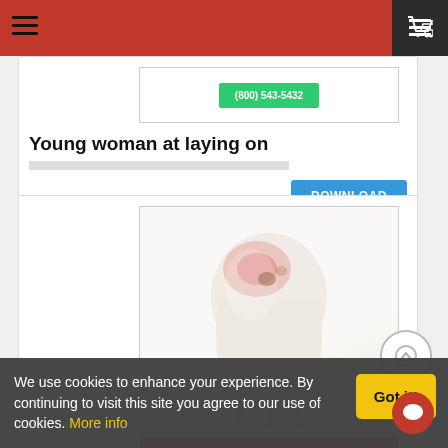Navigation bar with hamburger menu and cart icon
[Figure (screenshot): Partially visible card with a green button showing a phone number and a Download button. Title reads: Young woman at laying on]
Young woman at laying on
[Figure (screenshot): Dental flyer card showing a white tooth with red pain highlight, red section with text: IT IS TO LAUNCH. Lorem ipsum placeholder text and phone number (800) 543-5432]
Tootha
We use cookies to enhance your experience. By continuing to visit this site you agree to our use of cookies. More info
Got it!